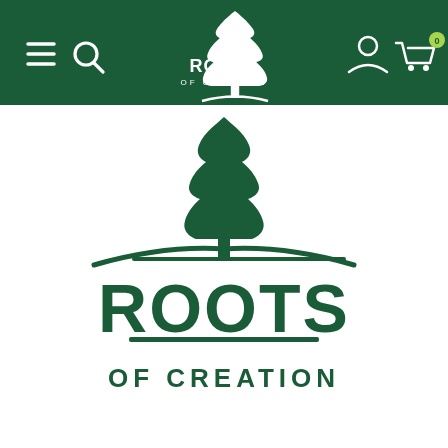[Figure (logo): Roots of Creation website header navigation bar with green background, hamburger menu icon, search icon, centered Roots of Creation logo (tree with text), user account icon, and cart icon with 0 badge]
[Figure (logo): Roots of Creation logo — large evergreen tree above the text ROOTS in large bold capitals, with OF CREATION below in smaller spaced capitals, and decorative swoosh lines, all in dark green on white background]